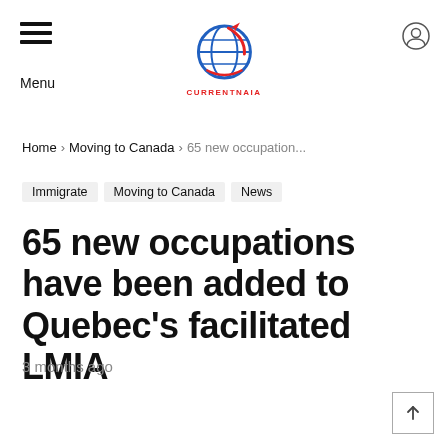Menu | CurrentNaia logo | User icon
Home › Moving to Canada › 65 new occupation...
Immigrate
Moving to Canada
News
65 new occupations have been added to Quebec's facilitated LMIA
3 months ago